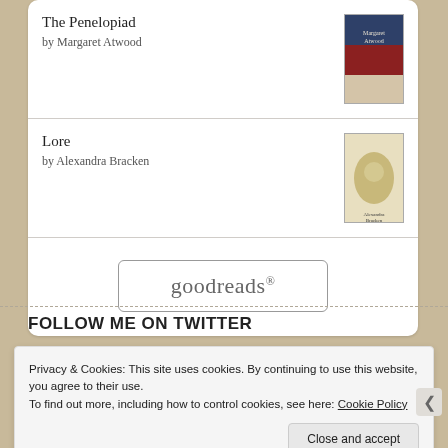The Penelopiad
by Margaret Atwood
Lore
by Alexandra Bracken
[Figure (logo): goodreads button/logo with rounded rectangle border]
FOLLOW ME ON TWITTER
Privacy & Cookies: This site uses cookies. By continuing to use this website, you agree to their use.
To find out more, including how to control cookies, see here: Cookie Policy
Close and accept